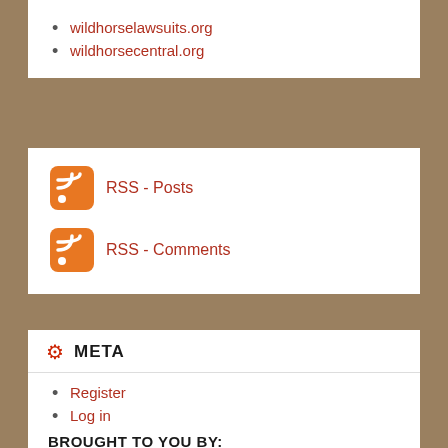wildhorselawsuits.org
wildhorsecentral.org
[Figure (other): RSS icon for Posts feed]
RSS - Posts
[Figure (other): RSS icon for Comments feed]
RSS - Comments
META
Register
Log in
Entries feed
Comments feed
WordPress.com
BROUGHT TO YOU BY: